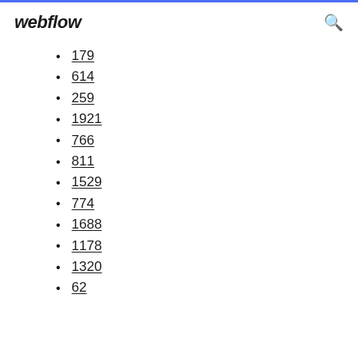webflow
179
614
259
1921
766
811
1529
774
1688
1178
1320
62